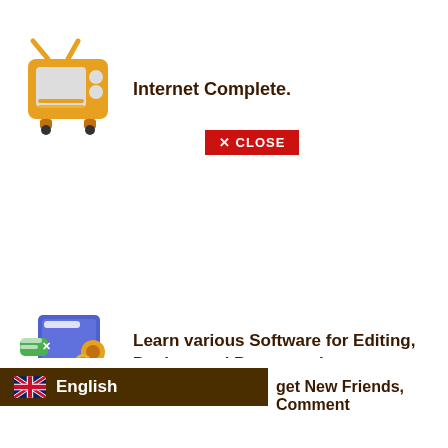[Figure (illustration): 3D orange retro TV set icon]
Internet Complete.
[Figure (illustration): Red close button with X and text CLOSE]
[Figure (illustration): 3D computer monitor with chat bubbles and gear icons illustration]
Learn various Software for Editing, Design, and Programming.
[Figure (illustration): 3D open book with letters A and B illustration]
Read digital books like Comics, Novels, eCourse or Others.
[Figure (illustration): UK flag icon]
English
get New Friends, Comment